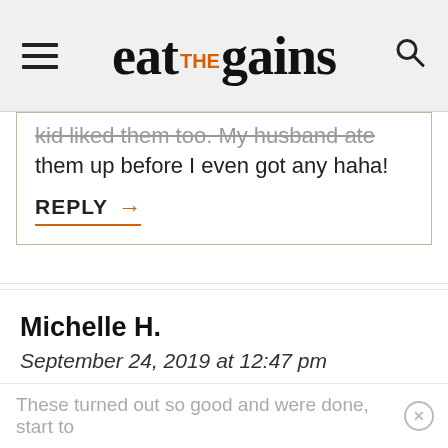eat the gains
kid liked them too. My husband ate them up before I even got any haha!
REPLY →
Michelle H.
September 24, 2019 at 12:47 pm
These turned out so good and were done, start to